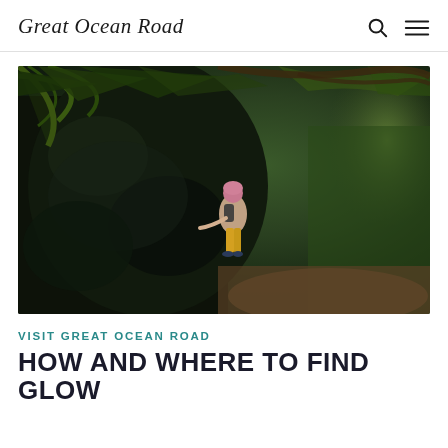Great Ocean Road
[Figure (photo): A person with pink hair wearing a backpack stands next to large dark mossy rocks in a lush rainforest setting with tree ferns overhead, along the Great Ocean Road region.]
VISIT GREAT OCEAN ROAD
HOW AND WHERE TO FIND GLOW